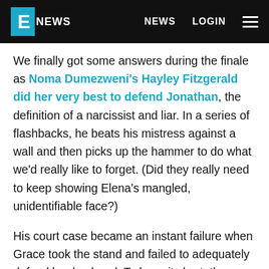E NEWS | NEWS | LOGIN
We finally got some answers during the finale as Noma Dumezweni's Hayley Fitzgerald did her very best to defend Jonathan, the definition of a narcissist and liar. In a series of flashbacks, he beats his mistress against a wall and then picks up the hammer to do what we'd really like to forget. (Did they really need to keep showing Elena's mangled, unidentifiable face?)
His court case became an instant failure when Grace took the stand and failed to adequately defend her husband. To keep it short, the plaintiff's lawyer (Sofie Gråbøl) bumped into Sylvia in the bathroom